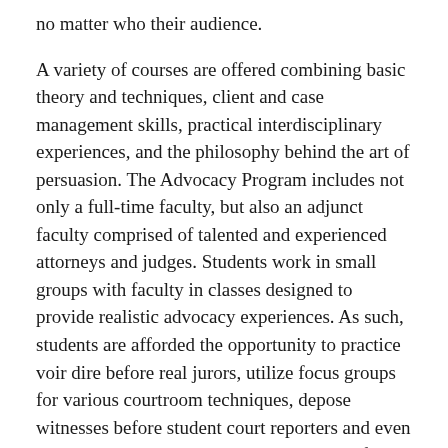no matter who their audience.
A variety of courses are offered combining basic theory and techniques, client and case management skills, practical interdisciplinary experiences, and the philosophy behind the art of persuasion. The Advocacy Program includes not only a full-time faculty, but also an adjunct faculty comprised of talented and experienced attorneys and judges. Students work in small groups with faculty in classes designed to provide realistic advocacy experiences. As such, students are afforded the opportunity to practice voir dire before real jurors, utilize focus groups for various courtroom techniques, depose witnesses before student court reporters and even to have motions heard at the courthouse before state and federal court judges.